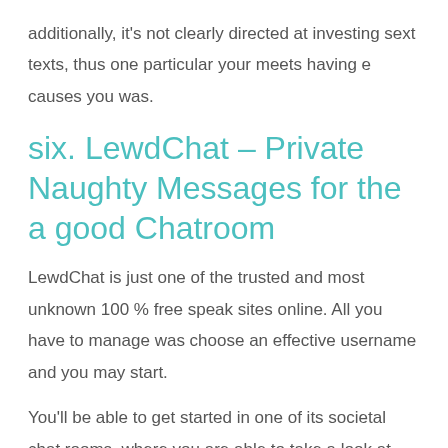additionally, it's not clearly directed at investing sext texts, thus one particular your meets having e causes you was.
six. LewdChat – Private Naughty Messages for the a good Chatroom
LewdChat is just one of the trusted and most unknown 100 % free speak sites online. All you have to manage was choose an effective username and you may start.
You'll be able to get started in one of its societal chat rooms, where you are able to take a look at